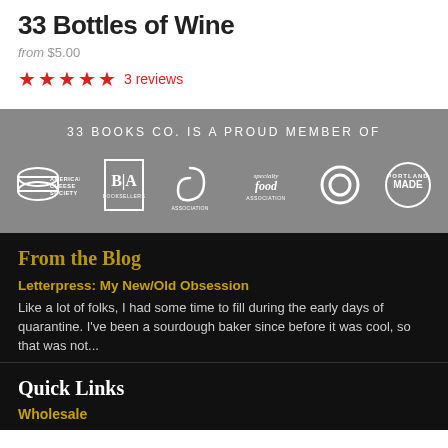33 Bottles of Wine
from $5.00
★★★★★ 3 reviews
33 BOOKS CO. IS A PROUD MEMBER OF
[Figure (logo): Row of organization logos: American Cheese Society, B&A, specialty food association, and Portland Made circular badge, among others]
From the Blog
Letterpress: My New/Old Obsession
Like a lot of folks, I had some time to fill during the early days of quarantine. I've been a sourdough baker since before it was cool, so that was not...
Quick Links
Wholesale